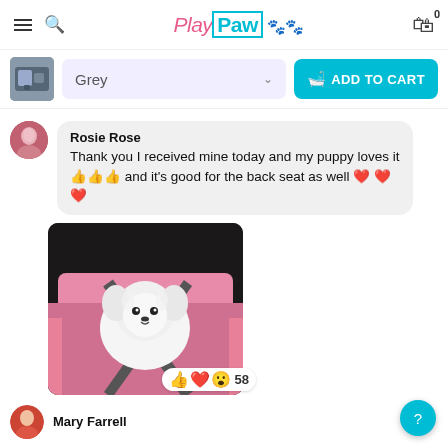PlayPaw - navigation header with menu, search, logo, cart
[Figure (screenshot): Product thumbnail - grey pet car seat]
Grey (dropdown selection) ADD TO CART button
Rosie Rose
Thank you I received mine today and my puppy loves it 👍👍👍 and it's good for the back seat as well ❤️❤️❤️
[Figure (photo): White fluffy dog sitting in a pink pet car seat with grey safety harness. Reactions: 👍❤️😮 58]
Mary Farrell (partial, bottom)